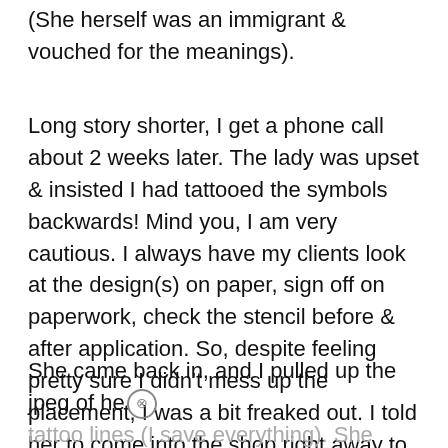(She herself was an immigrant & vouched for the meanings).
Long story shorter, I get a phone call about 2 weeks later. The lady was upset & insisted I had tattooed the symbols backwards! Mind you, I am very cautious. I always have my clients look at the design(s) on paper, sign off on paperwork, check the stencil before & after application. So, despite feeling pretty sure I didn't mess up the placement, I was a bit freaked out. I told her to come into the shop right away to check it out.
She came back in, and I pulled up the jpeg of her tattoo lines (I save everything). She confirmed they were correct. She went back to my station &